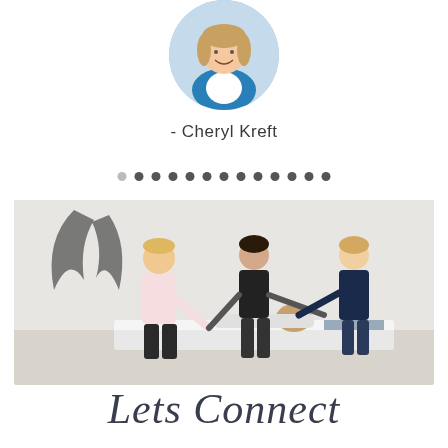[Figure (photo): Circular profile photo of a smiling woman with blonde hair wearing a blue top]
- Cheryl Kreft
[Figure (other): A row of dots used as a visual divider, with the leftmost dot lighter than the rest]
[Figure (photo): Three women practitioners performing energy healing on a fourth woman lying on a white table/bed in a bright studio room with angel wings decor on the wall]
Lets Connect